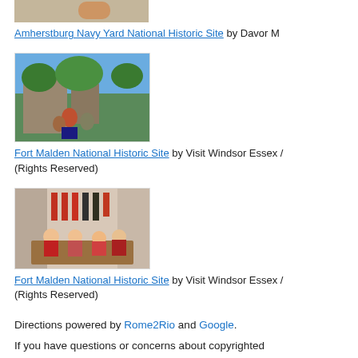[Figure (photo): Partial view of Amherstburg Navy Yard National Historic Site, showing what appears to be a basket of goods on a wooden surface.]
Amherstburg Navy Yard National Historic Site by Davor M
[Figure (photo): Fort Malden National Historic Site: a family sitting on grass in front of historic stone buildings surrounded by trees.]
Fort Malden National Historic Site by Visit Windsor Essex / (Rights Reserved)
[Figure (photo): Fort Malden National Historic Site: children sitting around a wooden table in a historic room with equipment on the walls.]
Fort Malden National Historic Site by Visit Windsor Essex / (Rights Reserved)
Directions powered by Rome2Rio and Google.
If you have questions or concerns about copyrighted